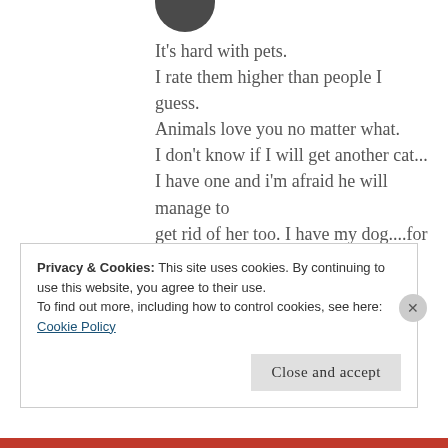[Figure (photo): Partial circular avatar photo at top, dark colored]
It's hard with pets.
I rate them higher than people I guess.
Animals love you no matter what.
I don't know if I will get another cat...
I have one and i'm afraid he will manage to get rid of her too. I have my dog....for now to help me.
★ Liked by 1 person
Privacy & Cookies: This site uses cookies. By continuing to use this website, you agree to their use.
To find out more, including how to control cookies, see here:
Cookie Policy
Close and accept